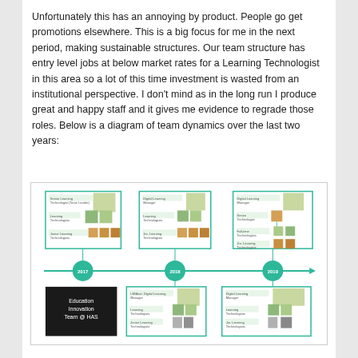Unfortunately this has an annoying by product. People go get promotions elsewhere. This is a big focus for me in the next period, making sustainable structures. Our team structure has entry level jobs at below market rates for a Learning Technologist in this area so a lot of this time investment is wasted from an institutional perspective. I don't mind as in the long run I produce great and happy staff and it gives me evidence to regrade those roles. Below is a diagram of team dynamics over the last two years:
[Figure (organizational-chart): Timeline diagram showing team dynamics over two years (2017, 2018, 2019) with org charts for each period showing Senior Learning Technologist/Team Leader, Learning Technologists, and Junior Learning Technologists. Includes an 'Education Innovation Team @ HAS' label box. Two additional org chart boxes appear below the 2018 and 2019 nodes.]